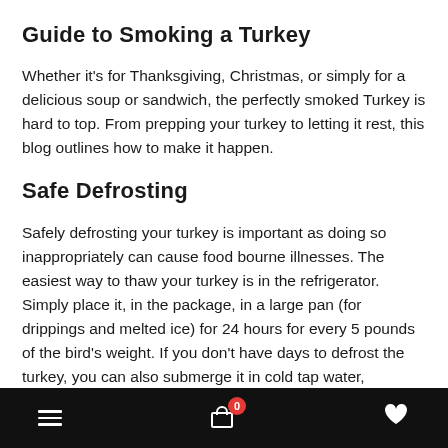Guide to Smoking a Turkey
Whether it's for Thanksgiving, Christmas, or simply for a delicious soup or sandwich, the perfectly smoked Turkey is hard to top. From prepping your turkey to letting it rest, this blog outlines how to make it happen.
Safe Defrosting
Safely defrosting your turkey is important as doing so inappropriately can cause food bourne illnesses. The easiest way to thaw your turkey is in the refrigerator. Simply place it, in the package, in a large pan (for drippings and melted ice) for 24 hours for every 5 pounds of the bird's weight. If you don't have days to defrost the turkey, you can also submerge it in cold tap water, ensuring to change the water out every 30 minutes. You should estimate 30-45 minutes of defrosting for every pound of its weight.
Navigation bar with menu, cart (0), and favorites icons